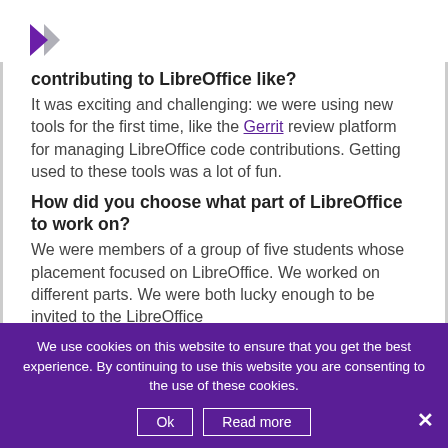[Figure (logo): LibreOffice purple arrow/chevron logo]
contributing to LibreOffice like?
It was exciting and challenging: we were using new tools for the first time, like the Gerrit review platform for managing LibreOffice code contributions. Getting used to these tools was a lot of fun.
How did you choose what part of LibreOffice to work on?
We were members of a group of five students whose placement focused on LibreOffice. We worked on different parts. We were both lucky enough to be invited to the LibreOffice
We use cookies on this website to ensure that you get the best experience. By continuing to use this website you are consenting to the use of these cookies.